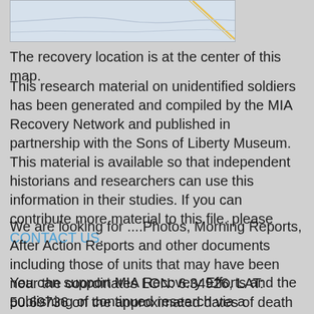[Figure (map): Partial map image showing geographic area with a diagonal line, serving as recovery location map]
The recovery location is at the center of this map.
This research material on unidentified soldiers has been generated and compiled by the MIA Recovery Network and published in partnership with the Sons of Liberty Museum. This material is available so that independent historians and researchers can use this information in their studies. If you can contribute more material to this file, please CONTACT US.
We are looking for ....Photos, Morning Reports, After Action Reports and other documents including those of units that may have been near the coordinates LON: 6.34926, LAT: 50.69736 on the approximated dates of death 12/01/1944 - .
You can support MIA Recovery Efforts and the publishing of continued research via a DONATION. Thank You.